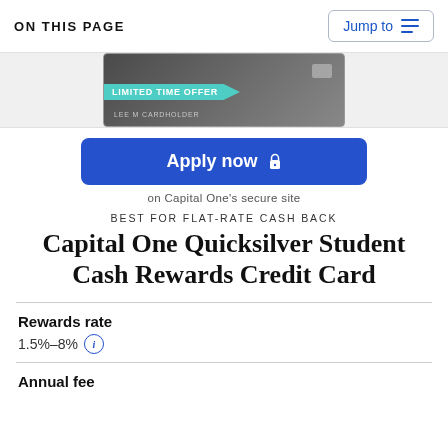ON THIS PAGE
[Figure (photo): Capital One Quicksilver credit card image showing LIMITED TIME OFFER banner and LEE M CARDHOLDER name]
Apply now
on Capital One's secure site
BEST FOR FLAT-RATE CASH BACK
Capital One Quicksilver Student Cash Rewards Credit Card
Rewards rate
1.5%–8%
Annual fee